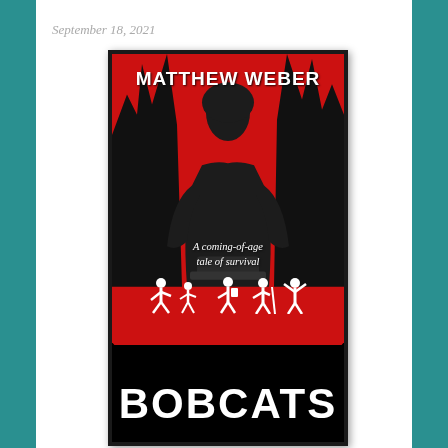September 18, 2021
[Figure (illustration): Book cover for 'Bobcats' by Matthew Weber. Dark thriller cover with a muscular figure seen from behind, set against a red splattered background with silhouetted trees. White silhouettes of four children/scouts are shown in the lower middle. Bold white title 'BOBCATS' at the bottom, author name 'MATTHEW WEBER' at the top, tagline 'A coming-of-age tale of survival' in the middle.]